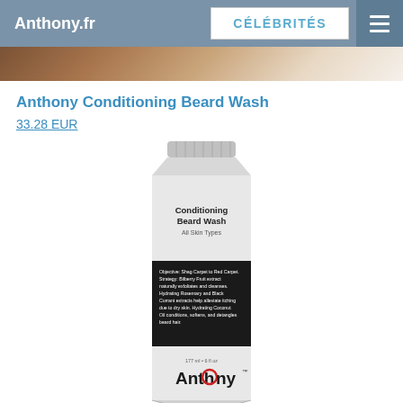Anthony.fr | CÉLÉBRITÉS
Anthony Conditioning Beard Wash
33.28 EUR
[Figure (photo): Product photo of Anthony Conditioning Beard Wash tube. A white squeeze tube with silver ribbed cap. Upper white section shows 'Conditioning Beard Wash All Skin Types' in black text. Middle black band shows product description text. Lower white section shows '177 ml • 6 fl oz' and the Anthony brand logo with a red 'o'.]